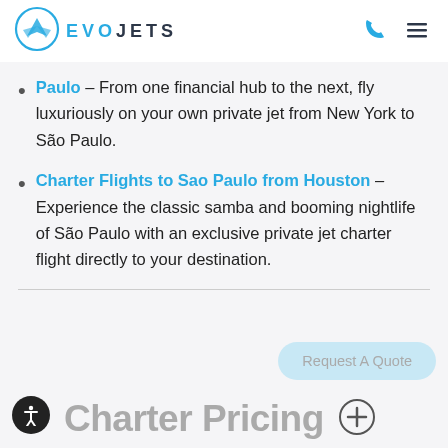EVO JETS
Paulo – From one financial hub to the next, fly luxuriously on your own private jet from New York to São Paulo.
Charter Flights to Sao Paulo from Houston – Experience the classic samba and booming nightlife of São Paulo with an exclusive private jet charter flight directly to your destination.
Charter Pricing